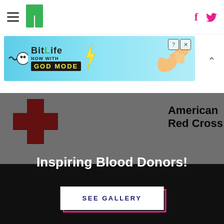HuffPost navigation with hamburger menu, logo, Facebook and Twitter icons
[Figure (screenshot): BitLife advertisement banner: 'NOW WITH GOD MODE' on cyan/teal background with cartoon hand pointing]
[Figure (photo): American Red Cross logo and sign visible in background, with hands giving blood in foreground, dark overlay. Title overlay reads 'Inspiring Blood Donors!' with a 'SEE GALLERY' button.]
Inspiring Blood Donors!
SEE GALLERY